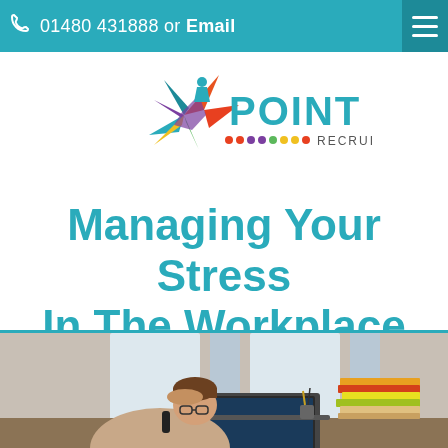01480 431888 or Email
[Figure (logo): Point Recruitment logo with colorful star/pinwheel graphic and colored dots beneath POINT text]
Managing Your Stress In The Workplace
[Figure (photo): Person at a desk looking stressed, holding phone to ear with hand on forehead, with a laptop and stack of papers/folders nearby, office setting with windows in background]